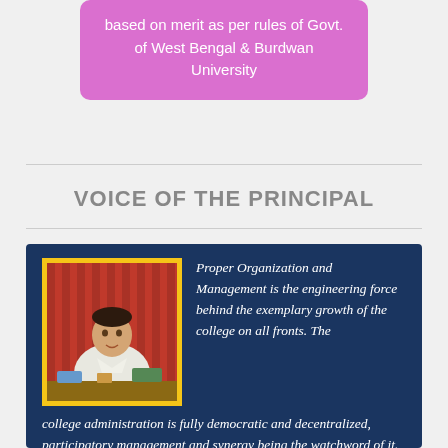based on merit as per rules of Govt. of West Bengal & Burdwan University
VOICE OF THE PRINCIPAL
[Figure (photo): Photo of the Principal seated at a desk, framed in yellow border, inside a dark blue box. Text beside and below reads: Proper Organization and Management is the engineering force behind the exemplary growth of the college on all fronts. The college administration is fully democratic and decentralized, participatory management and synergy being the watchword of it. It's a pride that Netaji Mahavidyalaya, Arambagh stands]